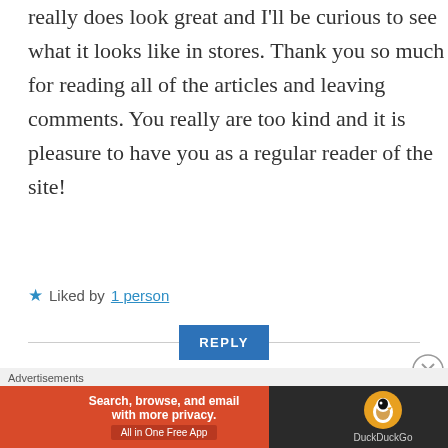really does look great and I'll be curious to see what it looks like in stores. Thank you so much for reading all of the articles and leaving comments. You really are too kind and it is pleasure to have you as a regular reader of the site!
★ Liked by 1 person
REPLY
Freddy
DECEMBER 19, 2016 AT 8:57 PM
[Figure (illustration): Teal geometric diamond pattern avatar for commenter Freddy]
Advertisements
[Figure (screenshot): DuckDuckGo advertisement banner: Search, browse, and email with more privacy. All in One Free App]